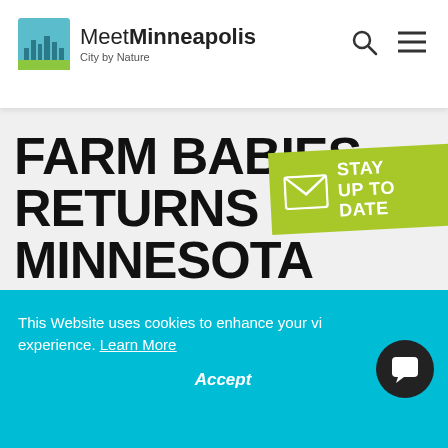Meet Minneapolis City by Nature
FARM BABIES RETURNS TO THE MINNESOTA ZOO'S WELLS FARGO FAMILY FARM FOR ANOTHER YEAR OF EXTREME
[Figure (infographic): Green diagonal badge with envelope icon and text STAY UP TO DATE]
This Website uses cookies to enhance your viewing experience. Learn More
Accept